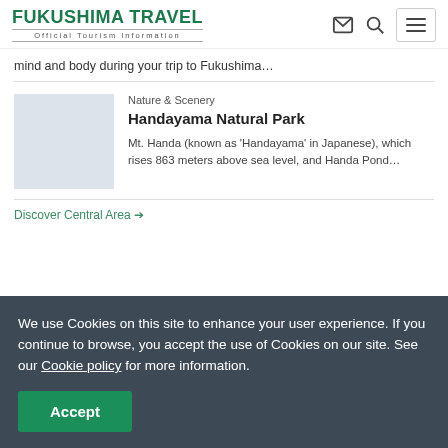FUKUSHIMA TRAVEL — Official Tourism Information
mind and body during your trip to Fukushima…
Nature & Scenery
Handayama Natural Park
Mt. Handa (known as 'Handayama' in Japanese), which rises 863 meters above sea level, and Handa Pond…
Discover Central Area →
We use Cookies on this site to enhance your user experience. If you continue to browse, you accept the use of Cookies on our site. See our Cookie policy for more information.
Accept